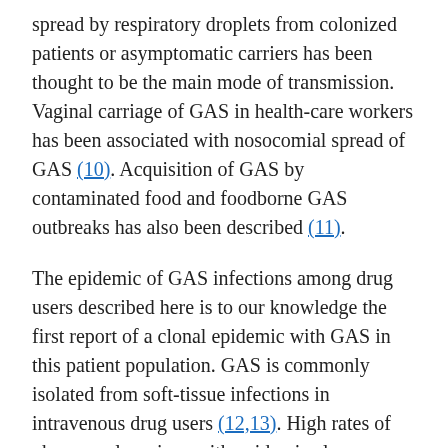spread by respiratory droplets from colonized patients or asymptomatic carriers has been thought to be the main mode of transmission. Vaginal carriage of GAS in health-care workers has been associated with nosocomial spread of GAS (10). Acquisition of GAS by contaminated food and foodborne GAS outbreaks has also been described (11).
The epidemic of GAS infections among drug users described here is to our knowledge the first report of a clonal epidemic with GAS in this patient population. GAS is commonly isolated from soft-tissue infections in intravenous drug users (12,13). High rates of pharyngeal carriage with epidemic clones may play a role in this high frequency of GAS infections, although no clonality of such GAS isolates was found in two studies (14,15).